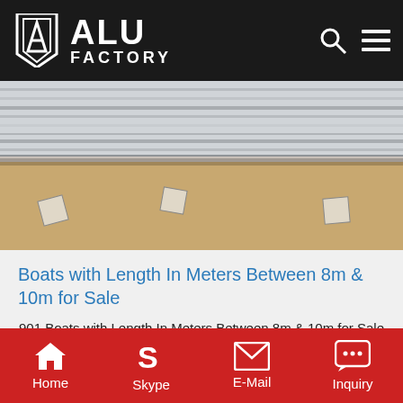ALU FACTORY
[Figure (photo): Photo of aluminum sheets/plates stacked, with brown packaging paper underneath, small square labels visible]
Boats with Length In Meters Between 8m & 10m for Sale
901 Boats with Length In Meters Between 8m & 10m for Sale in Australia
Get Price
[Figure (photo): Partial photo of industrial warehouse or factory interior with metal roofing]
Home  Skype  E-Mail  Inquiry